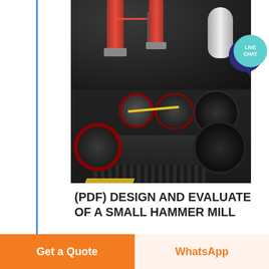[Figure (photo): Industrial hammer mill machinery photograph showing two vertically positioned red pneumatic cylinders and a silver tank at top, and heavy black industrial grinding/milling equipment with red-trimmed pulleys and belts in the lower portion, on a dark industrial floor.]
(PDF) DESIGN AND EVALUATE OF A SMALL HAMMER MILL
Get a Quote
WhatsApp